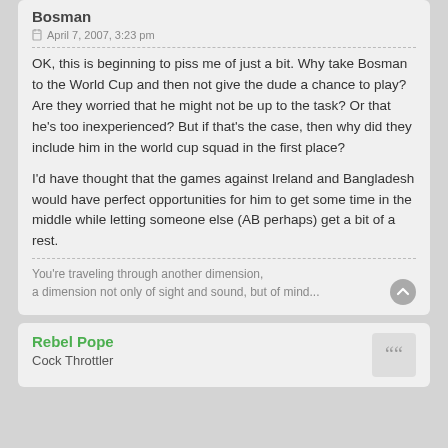Bosman
April 7, 2007, 3:23 pm
OK, this is beginning to piss me of just a bit. Why take Bosman to the World Cup and then not give the dude a chance to play? Are they worried that he might not be up to the task? Or that he's too inexperienced? But if that's the case, then why did they include him in the world cup squad in the first place?
I'd have thought that the games against Ireland and Bangladesh would have perfect opportunities for him to get some time in the middle while letting someone else (AB perhaps) get a bit of a rest.
You're traveling through another dimension,
a dimension not only of sight and sound, but of mind...
Rebel Pope
Cock Throttler